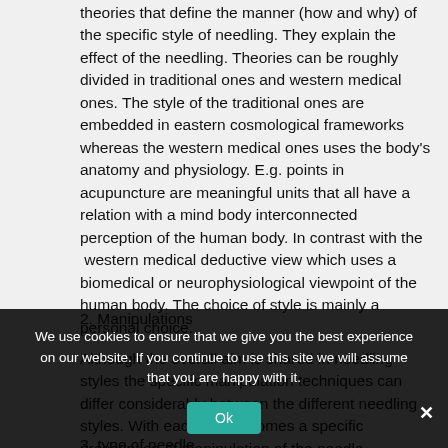theories that define the manner (how and why) of the specific style of needling. They explain the effect of the needling. Theories can be roughly divided in traditional ones and western medical ones. The style of the traditional ones are embedded in eastern cosmological frameworks whereas the western medical ones uses the body's anatomy and physiology. E.g. points in acupuncture are meaningful units that all have a relation with a mind body interconnected perception of the human body. In contrast with the western medical deductive view which uses a biomedical or neurophysiological viewpoint of the human body. The choice of style is mainly a personal choice.
2. Manipulations
Although the overall aim is shared in needling styles the specific manipulation techniques can differ considerably between the different needling styles. With each theory comes a specific prescription of manipulation of the needle.
3. type of needle
We use cookies to ensure that we give you the best experience on our website. If you continue to use this site we will assume that you are happy with it.